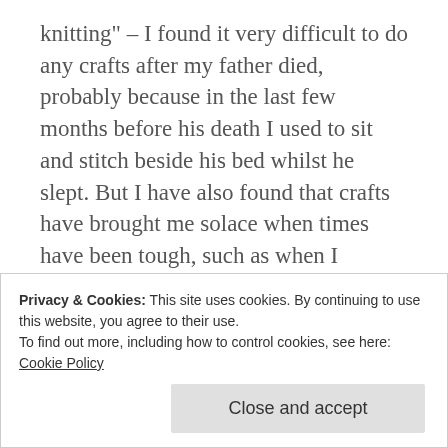knitting" – I found it very difficult to do any crafts after my father died, probably because in the last few months before his death I used to sit and stitch beside his bed whilst he slept. But I have also found that crafts have brought me solace when times have been tough, such as when I discovered I had inherited my family's rubbish heart genes. Knitting – and all crafts – still bring me much joy and peace but recently I have been discovering the power of my craft upon the lives of others.
Privacy & Cookies: This site uses cookies. By continuing to use this website, you agree to their use.
To find out more, including how to control cookies, see here: Cookie Policy
Close and accept